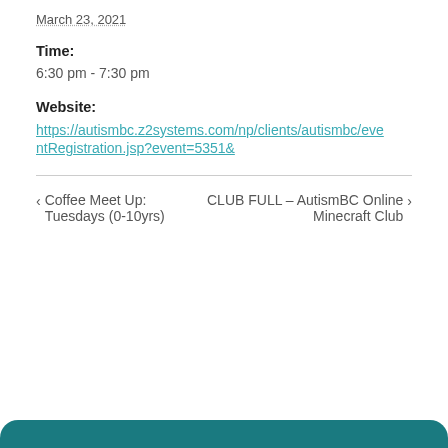March 23, 2021
Time:
6:30 pm - 7:30 pm
Website:
https://autismbc.z2systems.com/np/clients/autismbc/eventRegistration.jsp?event=5351&
< Coffee Meet Up: Tuesdays (0-10yrs)   CLUB FULL – AutismBC Online Minecraft Club >